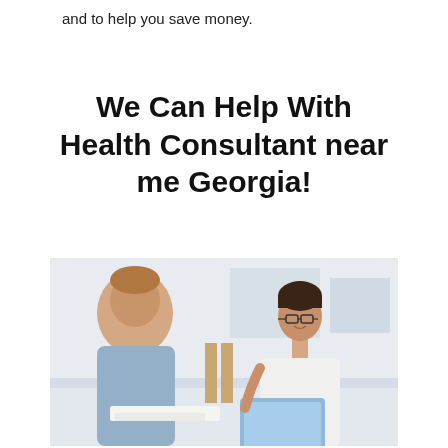and to help you save money.
We Can Help With Health Consultant near me Georgia!
[Figure (photo): A female health consultant wearing glasses and a white blouse sits across from a male client in a light blue shirt. The consultant holds a blue folder/tablet. Office setting with light background.]